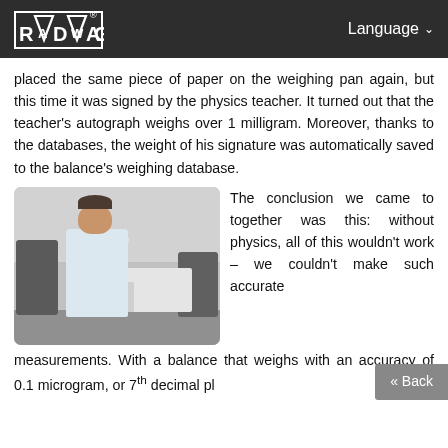RADWAG® Language
placed the same piece of paper on the weighing pan again, but this time it was signed by the physics teacher. It turned out that the teacher's autograph weighs over 1 milligram. Moreover, thanks to the databases, the weight of his signature was automatically saved to the balance's weighing database.
[Figure (photo): A man in a white shirt leaning over a laboratory table with precision weighing equipment, chairs visible on either side.]
The conclusion we came to together was this: without physics, all of this wouldn't work – we couldn't make such accurate measurements. With a balance that weighs with an accuracy of 0.1 microgram, or 7th decimal place,